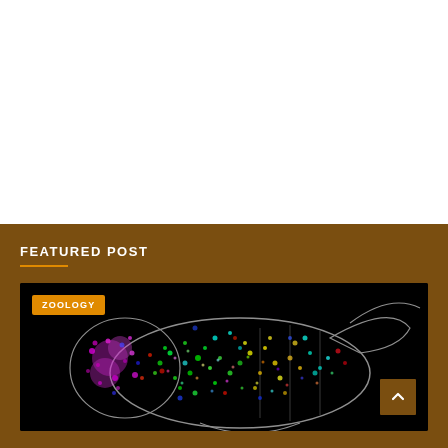FEATURED POST
[Figure (photo): Fluorescence microscopy image of a beetle larva or similar organism on black background, showing multicolored (pink, green, yellow, blue) cellular structures with white outline drawings superimposed. A 'ZOOLOGY' tag is overlaid in the top-left corner.]